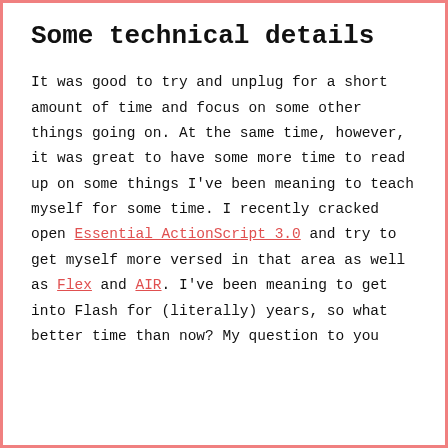Some technical details
It was good to try and unplug for a short amount of time and focus on some other things going on. At the same time, however, it was great to have some more time to read up on some things I've been meaning to teach myself for some time. I recently cracked open Essential ActionScript 3.0 and try to get myself more versed in that area as well as Flex and AIR. I've been meaning to get into Flash for (literally) years, so what better time than now? My question to you